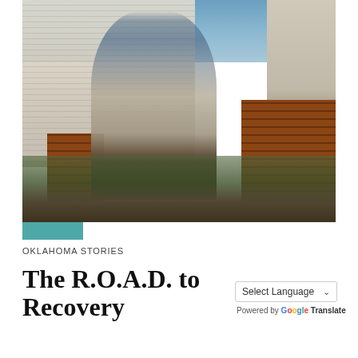[Figure (photo): A worker stands on a ladder or steps working on the exterior of an old house with peeling white paint, brick pillars, and surrounding vegetation]
OKLAHOMA STORIES
The R.O.A.D. to Recovery